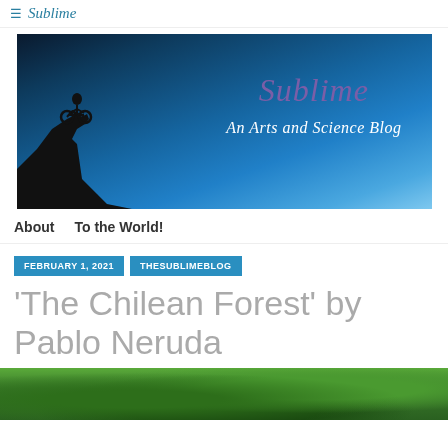≡ Sublime
[Figure (photo): Blog banner image showing a silhouette of a cyclist on top of a rocky cliff against a blue sky, with the text 'Sublime' in purple italic and 'An Arts and Science Blog' in white italic.]
About    To the World!
FEBRUARY 1, 2021    THESUBLIMEBLOG
'The Chilean Forest' by Pablo Neruda
[Figure (photo): Partial image of a forest canopy with green foliage at the bottom of the page.]